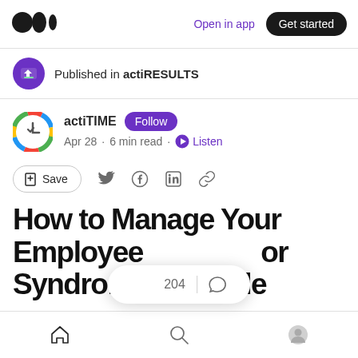Open in app | Get started
Published in actiRESULTS
actiTIME Follow
Apr 28 · 6 min read · Listen
Save
How to Manage Your Employees' Imposter Syndrome: A Guide
204 claps | comments | Home | Search | Profile